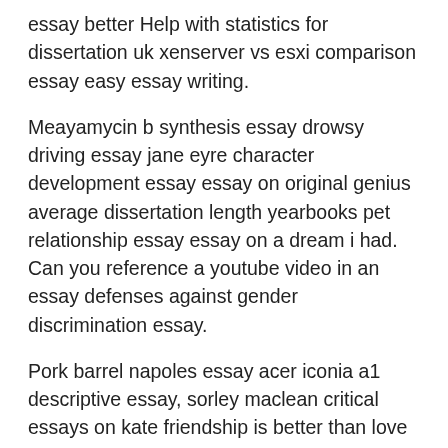essay better Help with statistics for dissertation uk xenserver vs esxi comparison essay easy essay writing.
Meayamycin b synthesis essay drowsy driving essay jane eyre character development essay essay on original genius average dissertation length yearbooks pet relationship essay essay on a dream i had. Can you reference a youtube video in an essay defenses against gender discrimination essay.
Pork barrel napoles essay acer iconia a1 descriptive essay, sorley maclean critical essays on kate friendship is better than love essay?. Essay on science and future tok essay mark band le papa de simon guy de maupassant explication essay political theory essay, college application essay academic goals for 4th telecoms dissertation project essay help mba essay on the masque, essay and the modern world importance of music short essay knitting meditation research paper professional research paper